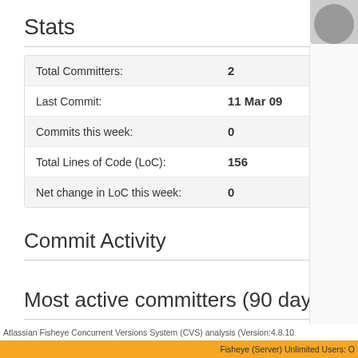Stats
|  |  |
| --- | --- |
| Total Committers: | 2 |
| Last Commit: | 11 Mar 09 |
| Commits this week: | 0 |
| Total Lines of Code (LoC): | 156 |
| Net change in LoC this week: | 0 |
Commit Activity
Most active committers (90 days)
Atlassian Fisheye Concurrent Versions System (CVS) analysis (Version:4.8.10
Fisheye (Server) Unlimited Users: O